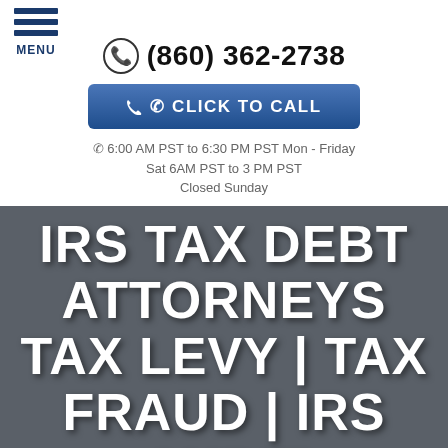[Figure (logo): Hamburger menu icon with three horizontal dark blue bars and MENU label below]
(860) 362-2738
CLICK TO CALL
6:00 AM PST to 6:30 PM PST Mon - Friday
Sat 6AM PST to 3 PM PST
Closed Sunday
IRS TAX DEBT ATTORNEYS TAX LEVY | TAX FRAUD | IRS AUDIT DEFENSE | TAX